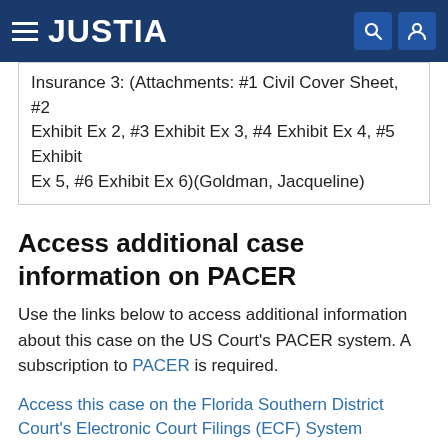JUSTIA
Insurance 3: (Attachments: #1 Civil Cover Sheet, #2 Exhibit Ex 2, #3 Exhibit Ex 3, #4 Exhibit Ex 4, #5 Exhibit Ex 5, #6 Exhibit Ex 6)(Goldman, Jacqueline)
Access additional case information on PACER
Use the links below to access additional information about this case on the US Court's PACER system. A subscription to PACER is required.
Access this case on the Florida Southern District Court's Electronic Court Filings (ECF) System
Search for Party Aliases
Associated Cases
Attorneys
Case File Location